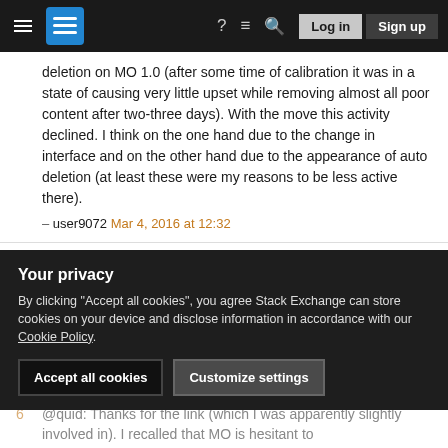Stack Exchange navigation bar with hamburger, logo, help, chat, search, Log in, Sign up
deletion on MO 1.0 (after some time of calibration it was in a state of causing very little upset while removing almost all poor content after two-three days). With the move this activity declined. I think on the one hand due to the change in interface and on the other hand due to the appearance of auto deletion (at least these were my reasons to be less active there).
– user9072  Mar 4, 2016 at 12:32
5  By now unfortunately manual deletion is "completely broken" that is there is virtually always just not enough critical mass to get something deleted no matter how bad. My proposal to restart it was faced with skepticism I believe mainly due to bad memories from the days
Your privacy
By clicking "Accept all cookies", you agree Stack Exchange can store cookies on your device and disclose information in accordance with our Cookie Policy.
Accept all cookies  Customize settings
6  @quid: Thanks for the link (which I was apparently slightly involved in). I recalled that MO is hesitant to